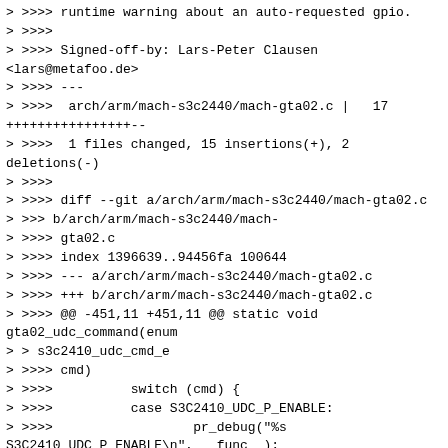> >>>> runtime warning about an auto-requested gpio.
> >>>>
> >>>> Signed-off-by: Lars-Peter Clausen <lars@metafoo.de>
> >>>> ---
> >>>>  arch/arm/mach-s3c2440/mach-gta02.c |   17 +++++++++++++++--
> >>>>  1 files changed, 15 insertions(+), 2 deletions(-)
> >>>>
> >>>> diff --git a/arch/arm/mach-s3c2440/mach-gta02.c
> >>> b/arch/arm/mach-s3c2440/mach-
> >>>> gta02.c
> >>>> index 1396639..94456fa 100644
> >>>> --- a/arch/arm/mach-s3c2440/mach-gta02.c
> >>>> +++ b/arch/arm/mach-s3c2440/mach-gta02.c
> >>>> @@ -451,11 +451,11 @@ static void gta02_udc_command(enum
> > s3c2410_udc_cmd_e
> >>>> cmd)
> >>>>          switch (cmd) {
> >>>>          case S3C2410_UDC_P_ENABLE:
> >>>>                  pr_debug("%s S3C2410_UDC_P_ENABLE\n", __func__);
> >>>> - gpio_direction_output(GTA02_GPIO_USB_PULLUP, 1);
> >>>> + gpio_set_value(GTA02_GPIO_USB_PULLUP, 1);
> >>>
> >>> How about following instead?
> +++ gpio_request(GTA02_GPIO_USB_PULLUP,